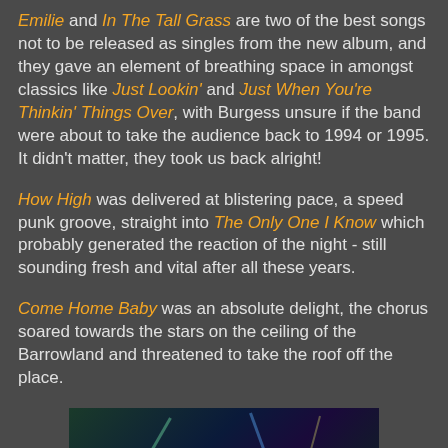Emilie and In The Tall Grass are two of the best songs not to be released as singles from the new album, and they gave an element of breathing space in amongst classics like Just Lookin' and Just When You're Thinkin' Things Over, with Burgess unsure if the band were about to take the audience back to 1994 or 1995. It didn't matter, they took us back alright!
How High was delivered at blistering pace, a speed punk groove, straight into The Only One I Know which probably generated the reaction of the night - still sounding fresh and vital after all these years.
Come Home Baby was an absolute delight, the chorus soared towards the stars on the ceiling of the Barrowland and threatened to take the roof off the place.
[Figure (photo): Concert photo showing performers on stage with coloured lighting beams — green, blue, and yellow diagonal light beams over a dark stage, figures visible in silhouette]